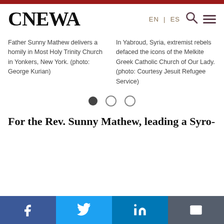CNEWA  EN | ES
Father Sunny Mathew delivers a homily in Most Holy Trinity Church in Yonkers, New York. (photo: George Kurian)
In Yabroud, Syria, extremist rebels defaced the icons of the Melkite Greek Catholic Church of Our Lady. (photo: Courtesy Jesuit Refugee Service)
For the Rev. Sunny Mathew, leading a Syro-